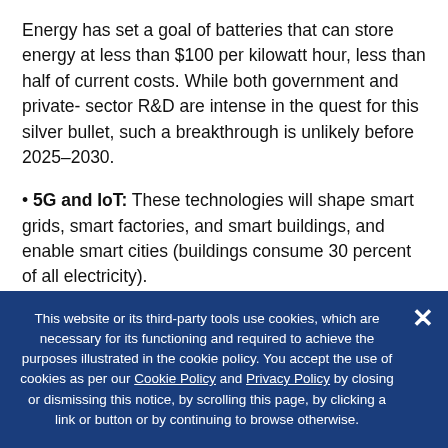Energy has set a goal of batteries that can store energy at less than $100 per kilowatt hour, less than half of current costs. While both government and private- sector R&D are intense in the quest for this silver bullet, such a breakthrough is unlikely before 2025–2030.
• 5G and IoT: These technologies will shape smart grids, smart factories, and smart buildings, and enable smart cities (buildings consume 30 percent of all electricity).
This website or its third-party tools use cookies, which are necessary for its functioning and required to achieve the purposes illustrated in the cookie policy. You accept the use of cookies as per our Cookie Policy and Privacy Policy by closing or dismissing this notice, by scrolling this page, by clicking a link or button or by continuing to browse otherwise.